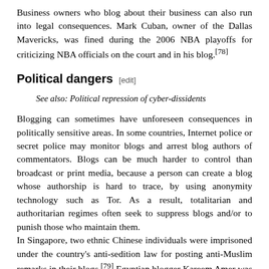Business owners who blog about their business can also run into legal consequences. Mark Cuban, owner of the Dallas Mavericks, was fined during the 2006 NBA playoffs for criticizing NBA officials on the court and in his blog.[78]
Political dangers [edit]
See also: Political repression of cyber-dissidents
Blogging can sometimes have unforeseen consequences in politically sensitive areas. In some countries, Internet police or secret police may monitor blogs and arrest blog authors of commentators. Blogs can be much harder to control than broadcast or print media, because a person can create a blog whose authorship is hard to trace, by using anonymity technology such as Tor. As a result, totalitarian and authoritarian regimes often seek to suppress blogs and/or to punish those who maintain them. In Singapore, two ethnic Chinese individuals were imprisoned under the country's anti-sedition law for posting anti-Muslim remarks in their blogs.[79] Egyptian blogger Kareem Amer was charged with insulting the Egyptian president Hosni Mubarak and an Islamic